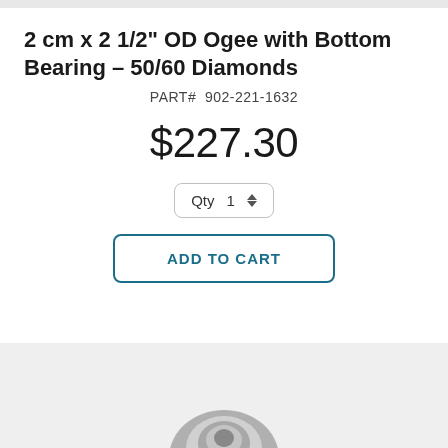2 cm x 2 1/2" OD Ogee with Bottom Bearing – 50/60 Diamonds
PART#  902-221-1632
$227.30
Qty  1
ADD TO CART
[Figure (photo): Partial view of a diamond router bit tool shown at the bottom of the page on a light grey background]